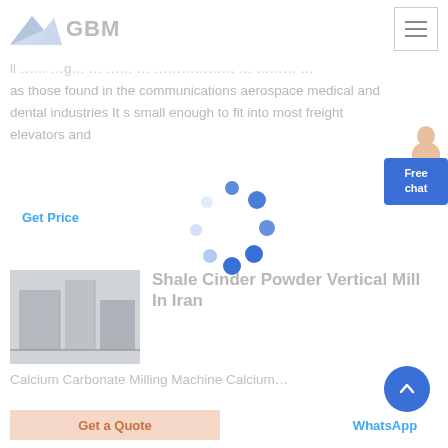GBM
as those found in the communications aerospace medical and dental industries It s small enough to fit into most freight elevators and
Get Price
[Figure (illustration): Circular loading spinner made of blue dots of varying sizes and opacity]
[Figure (photo): Industrial machinery/mill equipment photo in grayscale]
Shale Cinder Powder Vertical Mill In Iran
Calcium Carbonate Milling Machine Calcium…
Get a Quote
WhatsApp